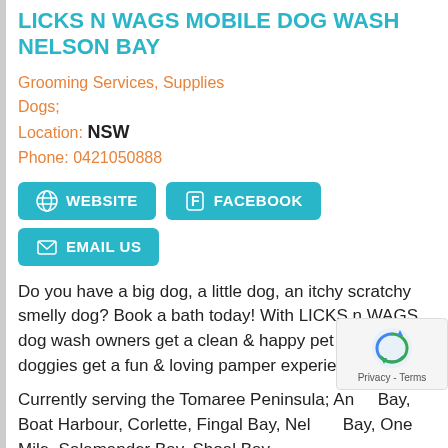LICKS N WAGS MOBILE DOG WASH NELSON BAY
Grooming Services, Supplies
Dogs;
Location: NSW
Phone: 0421050888
[Figure (infographic): Three teal buttons: WEBSITE (globe icon), FACEBOOK (f icon), EMAIL US (envelope icon)]
Do you have a big dog, a little dog, an itchy scratchy smelly dog? Book a bath today! With LICKS n WAGS dog wash owners get a clean & happy pet while the doggies get a fun & loving pamper experience.
Currently serving the Tomaree Peninsula; Anna Bay, Boat Harbour, Corlette, Fingal Bay, Nelson Bay, One Mile, Salamander Bay, Shoal Bay, Soldiers Point, Taylors Beach